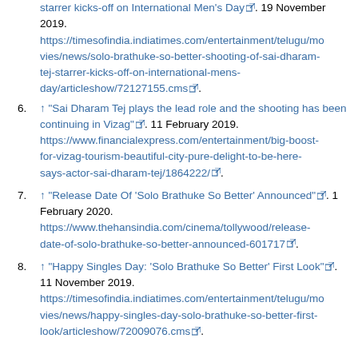(continuation) starrer kicks-off on International Men's Day. 19 November 2019. https://timesofindia.indiatimes.com/entertainment/telugu/movies/news/solo-brathuke-so-better-shooting-of-sai-dharam-tej-starrer-kicks-off-on-international-mens-day/articleshow/72127155.cms
6. ↑ "Sai Dharam Tej plays the lead role and the shooting has been continuing in Vizag". 11 February 2019. https://www.financialexpress.com/entertainment/big-boost-for-vizag-tourism-beautiful-city-pure-delight-to-be-here-says-actor-sai-dharam-tej/1864222/
7. ↑ "Release Date Of 'Solo Brathuke So Better' Announced". 1 February 2020. https://www.thehansindia.com/cinema/tollywood/release-date-of-solo-brathuke-so-better-announced-601717
8. ↑ "Happy Singles Day: 'Solo Brathuke So Better' First Look". 11 November 2019. https://timesofindia.indiatimes.com/entertainment/telugu/movies/news/happy-singles-day-solo-brathuke-so-better-first-look/articleshow/72009076.cms